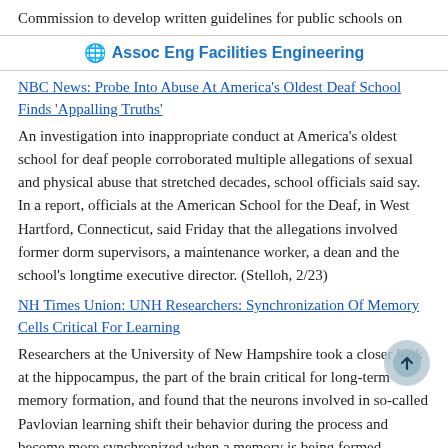Commission to develop written guidelines for public schools on
Assoc Eng Facilities Engineering
NBC News: Probe Into Abuse At America's Oldest Deaf School Finds 'Appalling Truths'
An investigation into inappropriate conduct at America's oldest school for deaf people corroborated multiple allegations of sexual and physical abuse that stretched decades, school officials said say. In a report, officials at the American School for the Deaf, in West Hartford, Connecticut, said Friday that the allegations involved former dorm supervisors, a maintenance worker, a dean and the school's longtime executive director. (Stelloh, 2/23)
NH Times Union: UNH Researchers: Synchronization Of Memory Cells Critical For Learning
Researchers at the University of New Hampshire took a closer look at the hippocampus, the part of the brain critical for long-term memory formation, and found that the neurons involved in so-called Pavlovian learning shift their behavior during the process and become more synchronized when a memory is being formed. According to a UNH news release, this finding helps people better understand memory mechanisms and it provides clues for the